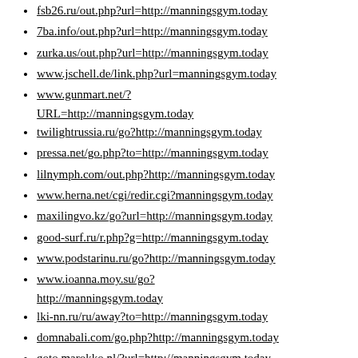fsb26.ru/out.php?url=http://manningsgym.today
7ba.info/out.php?url=http://manningsgym.today
zurka.us/out.php?url=http://manningsgym.today
www.jschell.de/link.php?url=manningsgym.today
www.gunmart.net/?URL=http://manningsgym.today
twilightrussia.ru/go?http://manningsgym.today
pressa.net/go.php?to=http://manningsgym.today
lilnymph.com/out.php?http://manningsgym.today
www.herna.net/cgi/redir.cgi?manningsgym.today
maxilingvo.kz/go?url=http://manningsgym.today
good-surf.ru/r.php?g=http://manningsgym.today
www.podstarinu.ru/go?http://manningsgym.today
www.ioanna.moy.su/go?http://manningsgym.today
lki-nn.ru/ru/away?to=http://manningsgym.today
domnabali.com/go.php?http://manningsgym.today
goto.marokko.nl/?url=http://manningsgym.today
sk2.ladder.3dn.ru/go?http://manningsgym.today